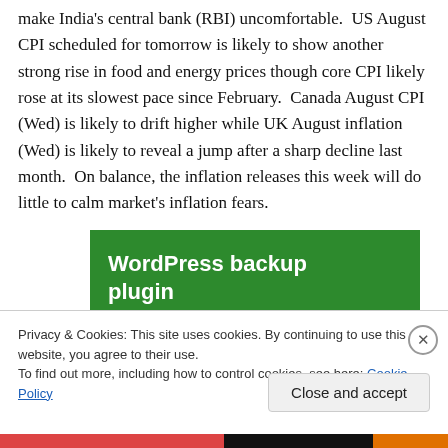make India's central bank (RBI) uncomfortable. US August CPI scheduled for tomorrow is likely to show another strong rise in food and energy prices though core CPI likely rose at its slowest pace since February. Canada August CPI (Wed) is likely to drift higher while UK August inflation (Wed) is likely to reveal a jump after a sharp decline last month. On balance, the inflation releases this week will do little to calm market's inflation fears.
[Figure (other): Advertisement banner for WordPress backup plugin with green background and white bold text reading 'WordPress backup plugin']
Privacy & Cookies: This site uses cookies. By continuing to use this website, you agree to their use.
To find out more, including how to control cookies, see here: Cookie Policy
Close and accept